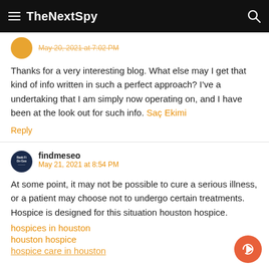TheNextSpy
May 20, 2021 at 7:02 PM
Thanks for a very interesting blog. What else may I get that kind of info written in such a perfect approach? I've a undertaking that I am simply now operating on, and I have been at the look out for such info. Saç Ekimi
Reply
findmeseo
May 21, 2021 at 8:54 PM
At some point, it may not be possible to cure a serious illness, or a patient may choose not to undergo certain treatments. Hospice is designed for this situation houston hospice.
hospices in houston
houston hospice
hospice care in houston